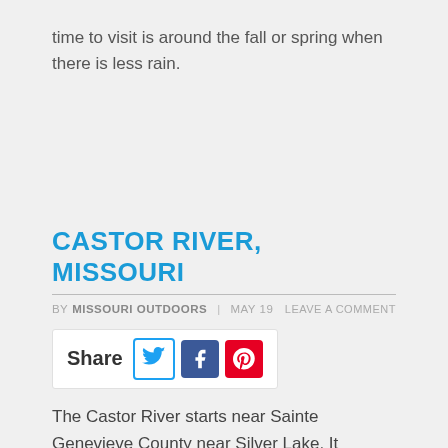time to visit is around the fall or spring when there is less rain.
CASTOR RIVER, MISSOURI
BY MISSOURI OUTDOORS | MAY 19   LEAVE A COMMENT
[Figure (infographic): Share bar with Twitter, Facebook, and Pinterest icons]
The Castor River starts near Sainte Genevieve County near Silver Lake. It meanders through Bollinger County and ends south of Cape Girardeau in the Mississippi River confluence called Little River. The name Castor means Beaver in French, named after the beavers that used to build dams in this river. The Castor River is also know [...]